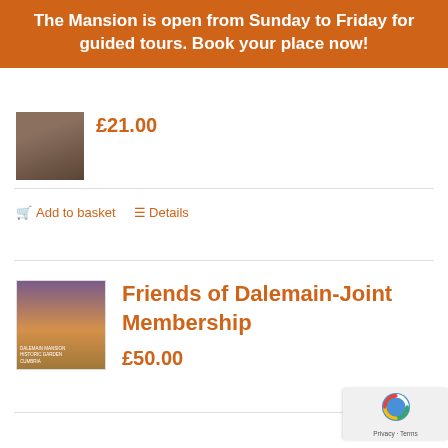The Mansion is open from Sunday to Friday for guided tours. Book your place now!
£21.00
Add to basket
Details
Friends of Dalemain-Joint Membership
£50.00